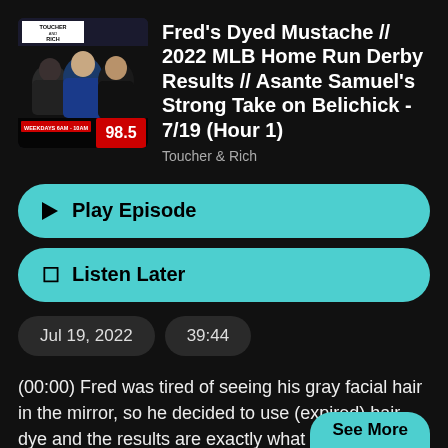[Figure (photo): Podcast artwork for Toucher & Rich show on 98.5, showing three men posing together, two in dark clothing and one in a blue shirt, with text 'TOUCHER AND RICH', 'WEEKDAYS 6AM-10AM', and '98.5']
Fred's Dyed Mustache // 2022 MLB Home Run Derby Results // Asante Samuel's Strong Take on Belichick - 7/19 (Hour 1)
Toucher & Rich
Play Episode
Listen Later
Jul 19, 2022
39:44
(00:00) Fred was tired of seeing his gray facial hair in the mirror, so he decided to use (expired) hair dye and the results are exactly what you'd expect. Rich WAS planning to be broadcasting from North Carolina
See More